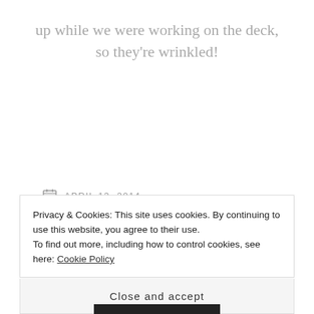up while we were working on the deck, so they're wrinkled!
APRIL 13, 2014
SUSAN
ADD COLOR TO YOUR DRAPES, PAINTED CURTAINS,
PAINTED DRAPES
Privacy & Cookies: This site uses cookies. By continuing to use this website, you agree to their use. To find out more, including how to control cookies, see here: Cookie Policy
Close and accept